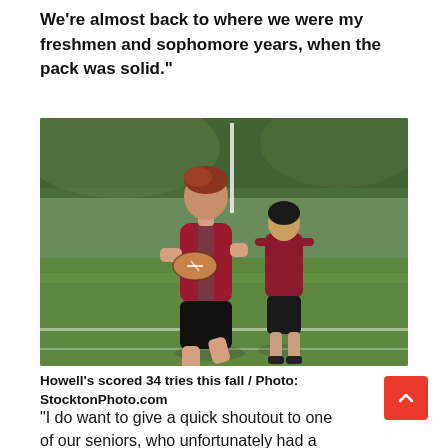We're almost back to where we were my freshmen and sophomore years, when the pack was solid."
[Figure (photo): Two youth rugby players in dark red and black uniforms running on a grass field. The front player carries a rugby ball while another player follows close behind. A goalpost is visible in the background.]
Howell's scored 34 tries this fall / Photo: StocktonPhoto.com
"I do want to give a quick shoutout to one of our seniors, who unfortunately had a torn ACL at the beginning of the